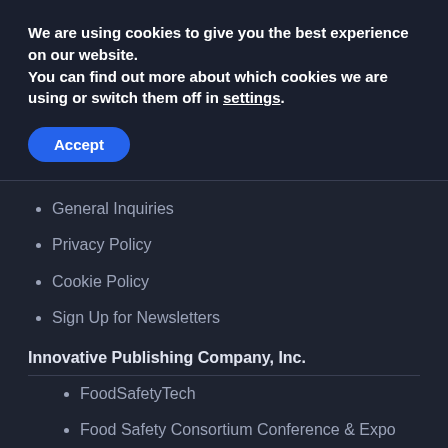We are using cookies to give you the best experience on our website.
You can find out more about which cookies we are using or switch them off in settings.
Accept
General Inquiries
Privacy Policy
Cookie Policy
Sign Up for Newsletters
Innovative Publishing Company, Inc.
FoodSafetyTech
Food Safety Consortium Conference & Expo
MedTech Intelligence
Cannabis Industry Journal
[Figure (logo): reCAPTCHA badge with blue recycling arrows logo and Privacy · Terms text]